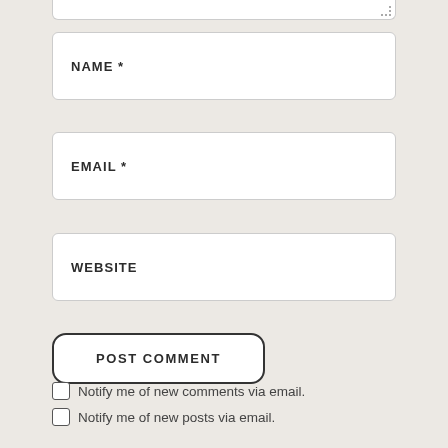NAME *
EMAIL *
WEBSITE
POST COMMENT
Notify me of new comments via email.
Notify me of new posts via email.
This site uses Akismet to reduce spam. Learn how your comment data is processed.